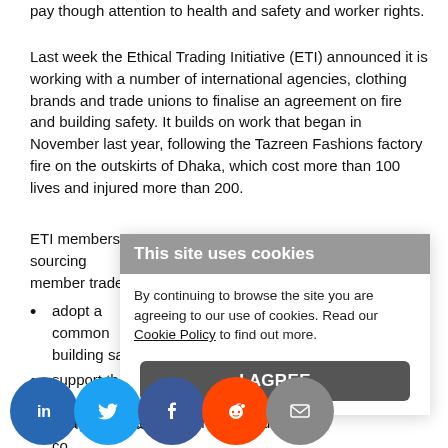pay though attention to health and safety and worker rights.
Last week the Ethical Trading Initiative (ETI) announced it is working with a number of international agencies, clothing brands and trade unions to finalise an agreement on fire and building safety. It builds on work that began in November last year, following the Tazreen Fashions factory fire on the outskirts of Dhaka, which cost more than 100 lives and injured more than 200.
ETI members sourcing... member trade unions...
adopt a common... building safety i...
support the Inter... Bangladesh to co... together for the e... National Tripartite Plan of Action on Fire Safety for the RMG Sector in Bangladesh (NAP);
ke thei... port fo... NAP e... ly clea... efforts... l proje... progra..., busi... re and building safety activity linked to, or
[Figure (infographic): Cookie consent overlay reading 'This site uses cookies. By continuing to browse the site you are agreeing to our use of cookies. Read our Cookie Policy to find out more.' with an 'I AGREE' button.]
[Figure (infographic): Row of social share icons: LinkedIn (blue), Twitter (light blue), Facebook (dark blue), Reddit (orange), Email (grey)]